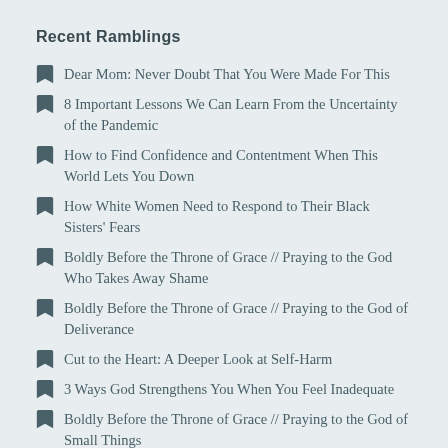Recent Ramblings
Dear Mom: Never Doubt That You Were Made For This
8 Important Lessons We Can Learn From the Uncertainty of the Pandemic
How to Find Confidence and Contentment When This World Lets You Down
How White Women Need to Respond to Their Black Sisters' Fears
Boldly Before the Throne of Grace // Praying to the God Who Takes Away Shame
Boldly Before the Throne of Grace // Praying to the God of Deliverance
Cut to the Heart: A Deeper Look at Self-Harm
3 Ways God Strengthens You When You Feel Inadequate
Boldly Before the Throne of Grace // Praying to the God of Small Things
Loving God When You Don't Feel Like It